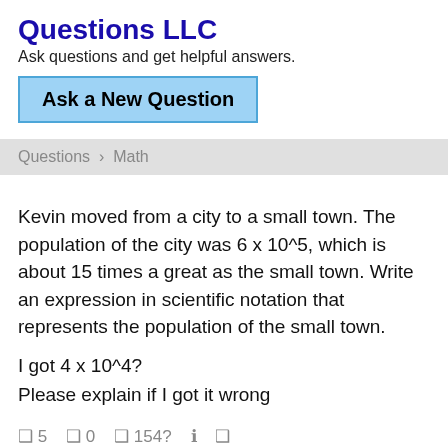Questions LLC
Ask questions and get helpful answers.
Ask a New Question
Questions › Math
Kevin moved from a city to a small town. The population of the city was 6 x 10^5, which is about 15 times a great as the small town. Write an expression in scientific notation that represents the population of the small town.
I got 4 x 10^4?
Please explain if I got it wrong
❑ 5   ❑ 0   ❑ 154?   ℹ   ❑